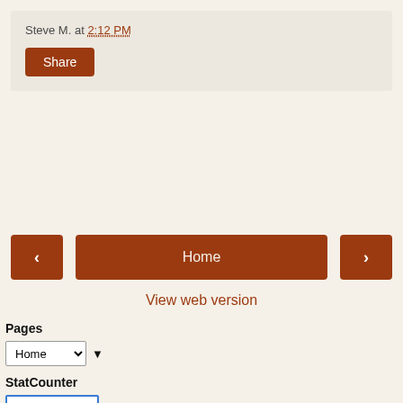Steve M. at 2:12 PM
Share
Home
View web version
Pages
Home
StatCounter